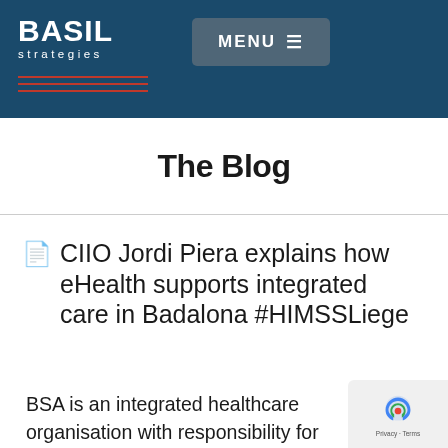BASIL strategies | MENU
The Blog
CIIO Jordi Piera explains how eHealth supports integrated care in Badalona #HIMSSLiege
BSA is an integrated healthcare organisation with responsibility for